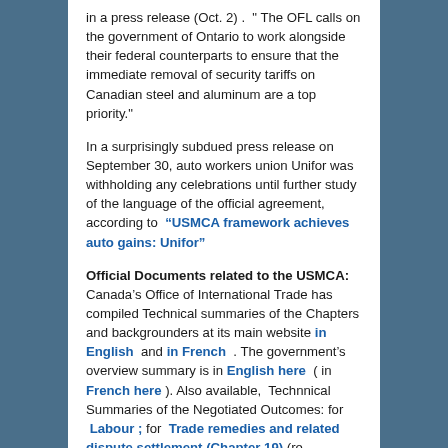in a press release (Oct. 2) .  " The OFL calls on the government of Ontario to work alongside their federal counterparts to ensure that the immediate removal of security tariffs on Canadian steel and aluminum are a top priority."
In a surprisingly subdued press release on September 30, auto workers union Unifor was withholding any celebrations until further study of the language of the official agreement, according to  “USMCA framework achieves auto gains: Unifor”
Official Documents related to the USMCA:  Canada’s Office of International Trade has compiled Technical summaries of the Chapters and backgrounders at its main website in English  and in French  . The government’s overview summary is in English here  ( in French here ). Also available,  Technnical Summaries of the Negotiated Outcomes: for  Labour ; for  Trade remedies and related dispute settlement (Chapter 19) (re countervailing duties and tariffs);  for State-to-State Dispute Settlement ; Section 232 Side Letters summary re auto industry